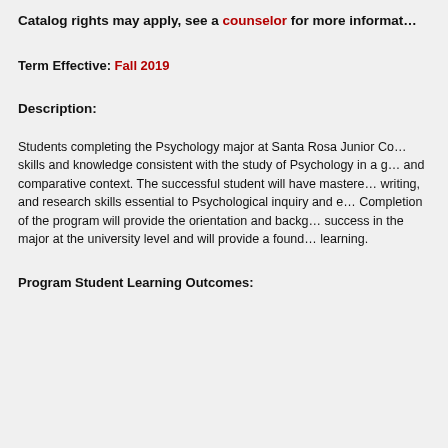Catalog rights may apply, see a counselor for more information
Term Effective: Fall 2019
Description:
Students completing the Psychology major at Santa Rosa Junior College will have demonstrated skills and knowledge consistent with the study of Psychology in a global, multicultural, and comparative context. The successful student will have mastered critical thinking, writing, and research skills essential to Psychological inquiry and evaluation. Completion of the program will provide the orientation and background for continued success in the major at the university level and will provide a foundation for lifelong learning.
Program Student Learning Outcomes: